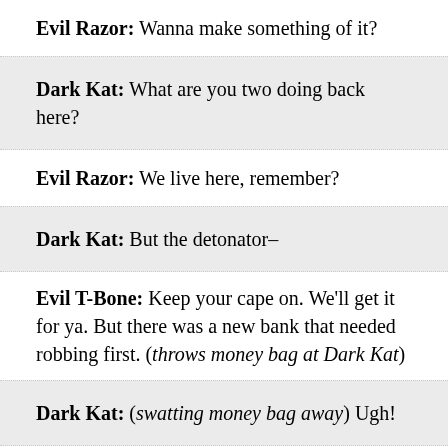Evil Razor: Wanna make something of it?
Dark Kat: What are you two doing back here?
Evil Razor: We live here, remember?
Dark Kat: But the detonator–
Evil T-Bone: Keep your cape on. We'll get it for ya. But there was a new bank that needed robbing first. (throws money bag at Dark Kat)
Dark Kat: (swatting money bag away) Ugh!